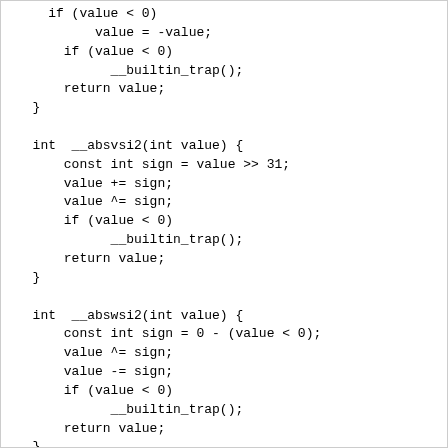Code snippet showing C functions: __absvsi2, __abswsi2, __absudi2 with integer absolute value implementations using builtin_trap